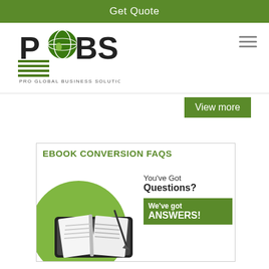Get Quote
[Figure (logo): PCBS Pro Global Business Solutions logo with globe icon]
View more
[Figure (infographic): EBOOK CONVERSION FAQS promotional banner with tablet/book image, text: You've Got Questions? We've got ANSWERS!]